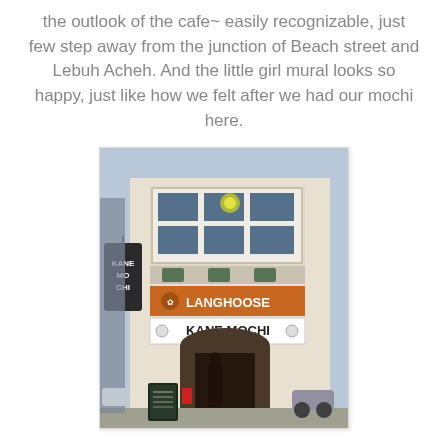the outlook of the cafe~ easily recognizable, just few step away from the junction of Beach street and Lebuh Acheh. And the little girl mural looks so happy, just like how we felt after we had our mochi here.
[Figure (photo): Exterior photo of Kane Mochi cafe, a shophouse building with LANGHOOSE and KANE MOCHI signage, and a Kane Mochi hanging sign on the left side.]